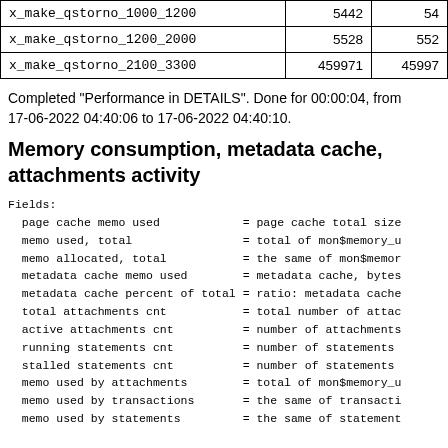|  |  |  |
| --- | --- | --- |
| x_make_qstorno_1000_1200 | 5442 | 54 |
| x_make_qstorno_1200_2000 | 5528 | 552 |
| x_make_qstorno_2100_3300 | 459971 | 45997 |
Completed "Performance in DETAILS". Done for 00:00:04, from 17-06-2022 04:40:06 to 17-06-2022 04:40:10.
Memory consumption, metadata cache, attachments activity
Fields:
  page cache memo used            = page cache total size
  memo used, total                = total of mon$memory_u
  memo allocated, total           = the same of mon$memor
  metadata cache memo used        = metadata cache, bytes
  metadata cache percent of total = ratio: metadata cache
  total attachments cnt           = total number of attac
  active attachments cnt          = number of attachments
  running statements cnt          = number of statements
  stalled statements cnt          = number of statements
  memo used by attachments        = total of mon$memory_u
  memo used by transactions       = the same of transacti
  memo used by statements         = the same of statement
Page cache type: shared, buffers: 1000000 for all connect